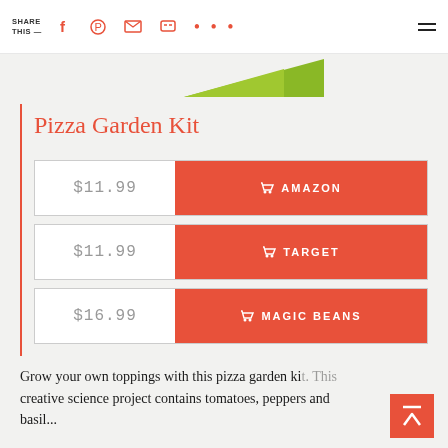SHARE THIS — [social icons: facebook, pinterest, email, message, more, menu]
[Figure (illustration): Green triangle/arrow shape pointing right, partially visible at top of content area]
Pizza Garden Kit
| Price | Store |
| --- | --- |
| $11.99 | AMAZON |
| $11.99 | TARGET |
| $16.99 | MAGIC BEANS |
Grow your own toppings with this pizza garden kit. This creative science project contains tomatoes, peppers and basil...